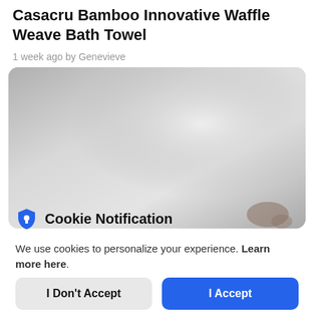Casacru Bamboo Innovative Waffle Weave Bath Towel
1 week ago by Genevieve
[Figure (screenshot): Screenshot of a product review page showing a grey/silver waffle weave bath towel with a green app icon overlay in the top left corner]
Cookie Notification
We use cookies to personalize your experience. Learn more here.
I Don't Accept
I Accept